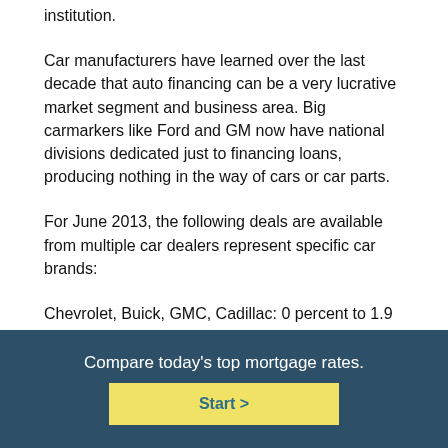institution.
Car manufacturers have learned over the last decade that auto financing can be a very lucrative market segment and business area. Big carmarkers like Ford and GM now have national divisions dedicated just to financing loans, producing nothing in the way of cars or car parts.
For June 2013, the following deals are available from multiple car dealers represent specific car brands:
Chevrolet, Buick, GMC, Cadillac: 0 percent to 1.9 percent financing
Ford, Lincoln: 0 percent to 1.9 percent financing
Toyota: 0 percent financing
Compare today's top mortgage rates.
Start >